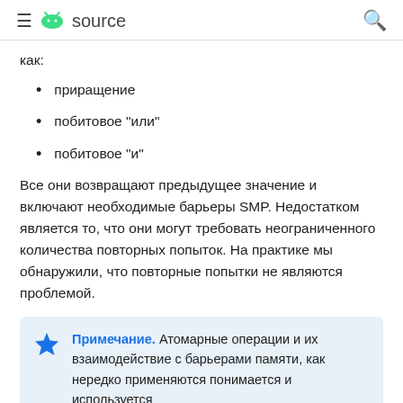≡ [android] source [search]
как:
приращение
побитовое "или"
побитовое "и"
Все они возвращают предыдущее значение и включают необходимые барьеры SMP. Недостатком является то, что они могут требовать неограниченного количества повторных попыток. На практике мы обнаружили, что повторные попытки не являются проблемой.
Примечание. Атомарные операции и их взаимодействие с барьерами памяти, как нередко применяются понимается и используется